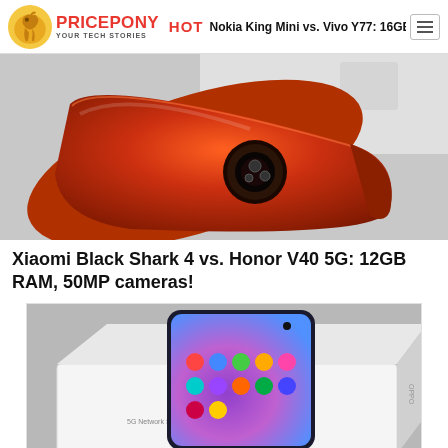PricePony - YOUR TECH STORIES | HOT | Nokia King Mini vs. Vivo Y77: 16GB RAM, 7300m...
[Figure (photo): Red Xiaomi Black Shark 4 smartphone back view on grey background]
Xiaomi Black Shark 4 vs. Honor V40 5G: 12GB RAM, 50MP cameras!
[Figure (photo): Oppo K9s smartphone with OPPO branded white box, purple display screen visible]
Oppo K9s vs. Honor 50 Pro: 12GB RAM, 108MP Cameras!